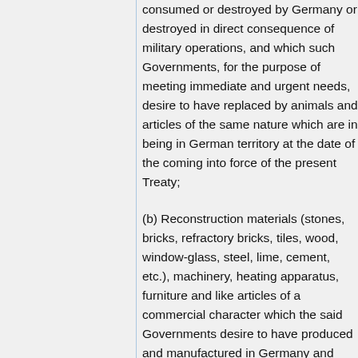consumed or destroyed by Germany or destroyed in direct consequence of military operations, and which such Governments, for the purpose of meeting immediate and urgent needs, desire to have replaced by animals and articles of the same nature which are in being in German territory at the date of the coming into force of the present Treaty;
(b) Reconstruction materials (stones, bricks, refractory bricks, tiles, wood, window-glass, steel, lime, cement, etc.), machinery, heating apparatus, furniture and like articles of a commercial character which the said Governments desire to have produced and manufactured in Germany and delivered to them to permit of the restoration of the